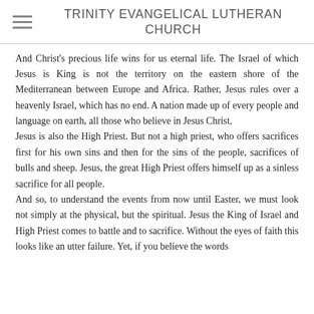TRINITY EVANGELICAL LUTHERAN CHURCH
And Christ's precious life wins for us eternal life. The Israel of which Jesus is King is not the territory on the eastern shore of the Mediterranean between Europe and Africa. Rather, Jesus rules over a heavenly Israel, which has no end. A nation made up of every people and language on earth, all those who believe in Jesus Christ.
Jesus is also the High Priest. But not a high priest, who offers sacrifices first for his own sins and then for the sins of the people, sacrifices of bulls and sheep. Jesus, the great High Priest offers himself up as a sinless sacrifice for all people.
And so, to understand the events from now until Easter, we must look not simply at the physical, but the spiritual. Jesus the King of Israel and High Priest comes to battle and to sacrifice. Without the eyes of faith this looks like an utter failure. Yet, if you believe the words